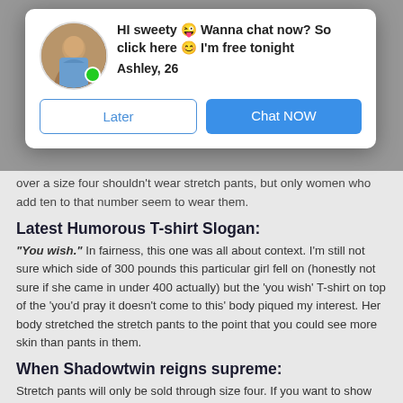[Figure (other): Chat popup modal with avatar photo of a young woman, green online dot, headline 'HI sweety 😜 Wanna chat now? So click here 😊 I'm free tonight', name 'Ashley, 26', and two buttons: 'Later' and 'Chat NOW']
over a size four shouldn't wear stretch pants, but only women who add ten to that number seem to wear them.
Latest Humorous T-shirt Slogan:
"You wish." In fairness, this one was all about context. I'm still not sure which side of 300 pounds this particular girl fell on (honestly not sure if she came in under 400 actually) but the 'you wish' T-shirt on top of the 'you'd pray it doesn't come to this' body piqued my interest. Her body stretched the stretch pants to the point that you could see more skin than pants in them.
When Shadowtwin reigns supreme:
Stretch pants will only be sold through size four. If you want to show off your big ass, do it like a real woman: Mardi Gras.
Wildly inaccurate, yet shockingly precise,